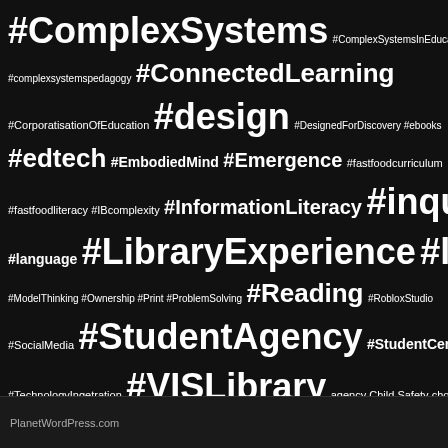[Figure (infographic): Word cloud on black background featuring education and library-related hashtags and terms in varying font sizes. Largest terms include #ComplexSystems, #ConnectedLearning, #design, #inquiry, #LibraryExperience, #literacy, #StudentAgency, #VISLibrary, Learning through play, Library management, Roblox Studio, Video Game Design, VIS Library.]
PlanetWordPress.com